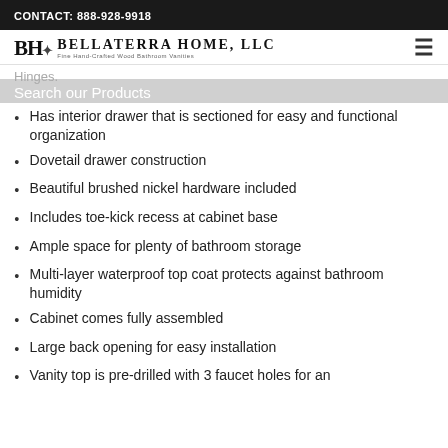CONTACT: 888-928-9918
[Figure (logo): Bellaterra Home, LLC logo with BH monogram and leaf motif. Tagline: Fine Hand-Crafted Wood Bathroom Vanities]
Hinges.
Search our Products
Has interior drawer that is sectioned for easy and functional organization
Dovetail drawer construction
Beautiful brushed nickel hardware included
Includes toe-kick recess at cabinet base
Ample space for plenty of bathroom storage
Multi-layer waterproof top coat protects against bathroom humidity
Cabinet comes fully assembled
Large back opening for easy installation
Vanity top is pre-drilled with 3 faucet holes for an